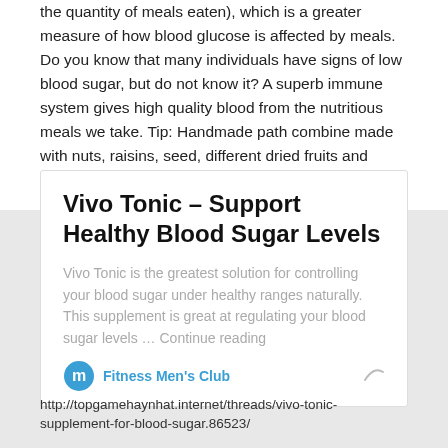the quantity of meals eaten), which is a greater measure of how blood glucose is affected by meals. Do you know that many individuals have signs of low blood sugar, but do not know it? A superb immune system gives high quality blood from the nutritious meals we take. Tip: Handmade path combine made with nuts, raisins, seed, different dried fruits and complete grains are nice.
Vivo Tonic – Support Healthy Blood Sugar Levels
Vivo Tonic is the greatest solution for controlling your blood sugar under healthy ranges naturally. This supplement is great at regulating your blood sugar levels … Continue reading
Fitness Men's Club
http://topgamehaynhat.internet/threads/vivo-tonic-supplement-for-blood-sugar.86523/